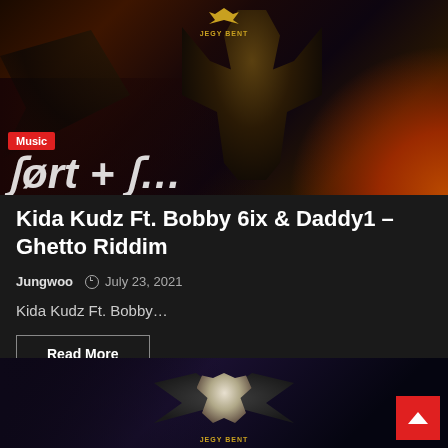[Figure (illustration): Dark fantasy illustration showing a winged armored figure with glowing eyes against a fiery background, with a logo at top center and a 'Music' badge overlay]
Kida Kudz Ft. Bobby 6ix & Daddy1 – Ghetto Riddim
Jungwoo  © July 23, 2021
Kida Kudz Ft. Bobby...
Read More
[Figure (illustration): Dark background with an eagle logo (Jegy Bent) with spread wings visible at the bottom of the page]